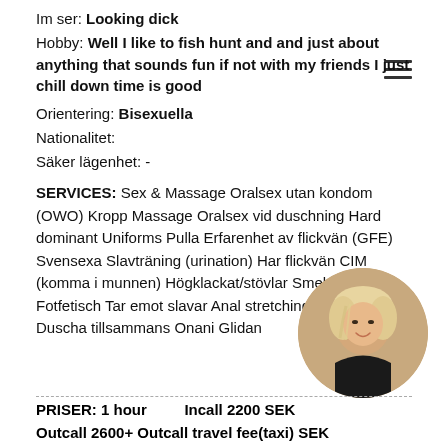Im ser: Looking dick
Hobby: Well I like to fish hunt and and just about anything that sounds fun if not with my friends I just chill down time is good
Orientering: Bisexuella
Nationalitet:
Säker lägenhet: -
SERVICES: Sex & Massage Oralsex utan kondom (OWO) Kropp Massage Oralsex vid duschning Hard dominant Uniforms Pulla Erfarenhet av flickvän (GFE) Svensexa Slavträning (urination) Har flickvän CIM (komma i munnen) Högklackat/stövlar Smekning Foto Fotfetisch Tar emot slavar Anal stretching Fista Duscha tillsammans Onani Glidan
[Figure (photo): Circular profile photo of a blonde woman in black lingerie]
PRISER: 1 hour    Incall 2200 SEK
Outcall 2600+ Outcall travel fee(taxi) SEK